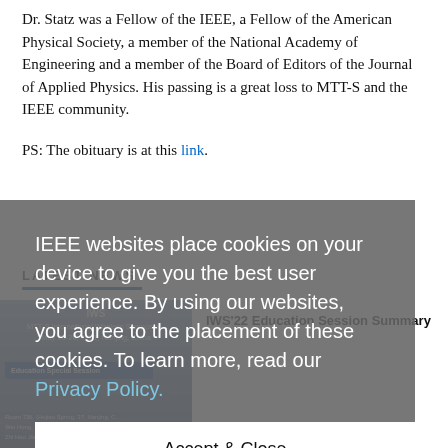Dr. Statz was a Fellow of the IEEE, a Fellow of the American Physical Society, a member of the National Academy of Engineering and a member of the Board of Editors of the Journal of Applied Physics. His passing is a great loss to MTT-S and the IEEE community.
PS: The obituary is at this link.
[Figure (screenshot): Cookie consent overlay dialog with text: IEEE websites place cookies on your device to give you the best user experience. By using our websites, you agree to the placement of these cookies. To learn more, read our Privacy Policy. Accept & Close button.]
LATEST NEWS
[Figure (photo): Conference poster image for MTT-S International Wireless Symposium, May 23-26, 2021, Nanjing, China, Education Special Session]
IWS'22 Education Session Summary
Aug 27, 2022